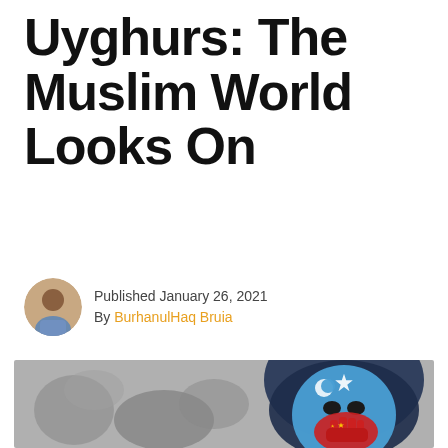Uyghurs: The Muslim World Looks On
Published January 26, 2021
By BurhanulHaq Bruia
[Figure (photo): Person wearing a blue face mask painted with the East Turkestan flag (light blue with white star and crescent) and a red hand with Chinese flag stars, wearing a dark blue hood, with blurred protest crowd in black and white background.]